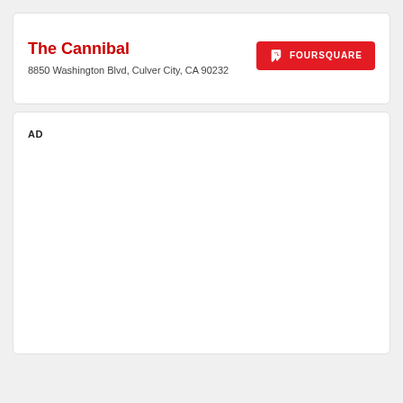The Cannibal
8850 Washington Blvd, Culver City, CA 90232
AD